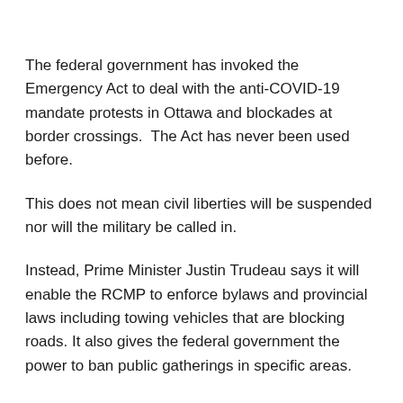The federal government has invoked the Emergency Act to deal with the anti-COVID-19 mandate protests in Ottawa and blockades at border crossings.  The Act has never been used before.
This does not mean civil liberties will be suspended nor will the military be called in.
Instead, Prime Minister Justin Trudeau says it will enable the RCMP to enforce bylaws and provincial laws including towing vehicles that are blocking roads. It also gives the federal government the power to ban public gatherings in specific areas.